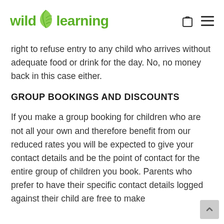wild learning
right to refuse entry to any child who arrives without adequate food or drink for the day. No, no money back in this case either.
GROUP BOOKINGS AND DISCOUNTS
If you make a group booking for children who are not all your own and therefore benefit from our reduced rates you will be expected to give your contact details and be the point of contact for the entire group of children you book. Parents who prefer to have their specific contact details logged against their child are free to make